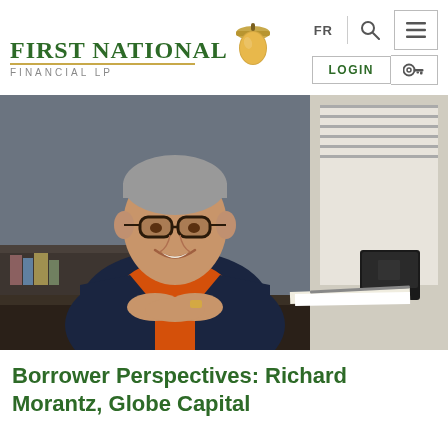First National Financial LP | FR | LOGIN
[Figure (photo): A man with grey hair and glasses, wearing an orange polo shirt and dark blazer, smiling and sitting at a desk in an office environment.]
Borrower Perspectives: Richard Morantz, Globe Capital